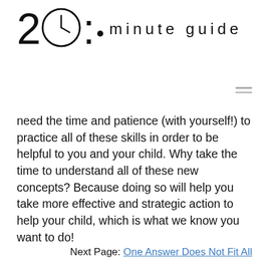[Figure (logo): 20 minute guide logo with clock icon replacing the zero in '20', followed by 'o minute guide' in spaced letters]
need the time and patience (with yourself!) to practice all of these skills in order to be helpful to you and your child. Why take the time to understand all of these new concepts? Because doing so will help you take more effective and strategic action to help your child, which is what we know you want to do!
Next Page: One Answer Does Not Fit All